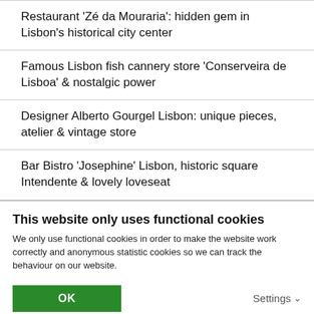Restaurant ‘Zé da Mouraria’: hidden gem in Lisbon’s historical city center
Famous Lisbon fish cannery store ‘Conserveira de Lisboa’ & nostalgic power
Designer Alberto Gourgel Lisbon: unique pieces, atelier & vintage store
Bar Bistro ‘Josephine’ Lisbon, historic square Intendente & lovely loveseat
This website only uses functional cookies
We only use functional cookies in order to make the website work correctly and anonymous statistic cookies so we can track the behaviour on our website.
OK
Settings